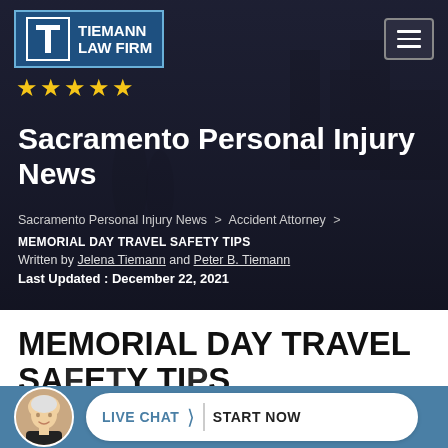[Figure (screenshot): Tiemann Law Firm logo with blue background, 'T' icon and text reading TIEMANN LAW FIRM]
★★★★★
Sacramento Personal Injury News
Sacramento Personal Injury News > Accident Attorney >
MEMORIAL DAY TRAVEL SAFETY TIPS
Written by Jelena Tiemann and Peter B. Tiemann
Last Updated : December 22, 2021
MEMORIAL DAY TRAVEL SAFETY TIPS
LIVE CHAT  ❯  START NOW